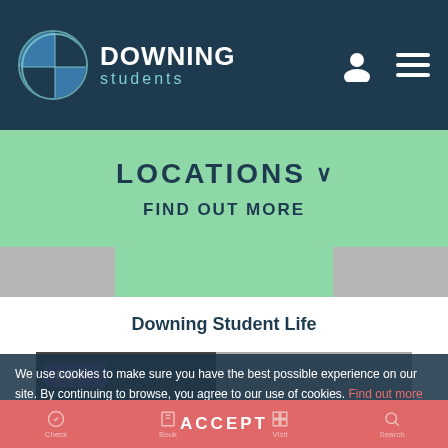[Figure (screenshot): Downing Students website header with logo (circle divided into quadrants) and DOWNING students text]
LOCATIONS  ∨
FIND OUT MORE
Downing Student Life
[Figure (photo): Photo strip showing student with NEW! badge overlay]
We use cookies to make sure you have the best possible experience on our site. By continuing to browse, you agree to our use of cookies. Find out more
ACCEPT